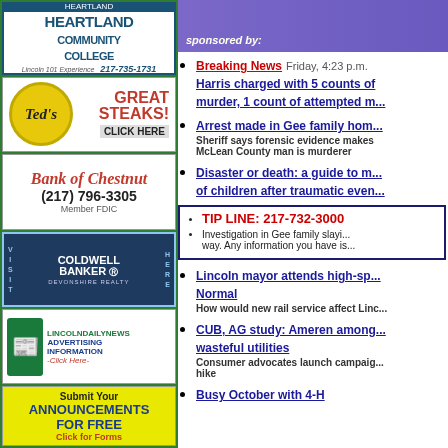[Figure (logo): Heartland Community College ad with logo and phone 217-735-1731]
[Figure (illustration): Ted's Great Steaks! Click Here ad with yellow oval logo]
[Figure (logo): Bank of Chestnut ad with phone (217) 796-3305, Member FDIC]
[Figure (logo): Coldwell Banker Devonshire Realty ad - Visit Here]
[Figure (logo): Lincoln Daily News Advertising Information Click Here ad]
[Figure (illustration): Submit Your ANNOUNCEMENTS FOR FREE - Click for Forms]
TOP STORIES sponsored by:
Breaking News  Friday, 4:23 p.m. Harris charged with 5 counts of murder, 1 count of attempted murder
Arrest made in Gee family home — Sheriff says forensic evidence makes McLean County man is murderer
Disaster or death: a guide to mental health of children after traumatic events
TIP LINE: 217-732-3000
Investigation in Gee family slaying under way. Any information you have is...
Lincoln mayor attends high-speed rail meeting in Normal — How would new rail service affect Lincoln...
CUB, AG study: Ameren among most wasteful utilities — Consumer advocates launch campaign against rate hike
Busy October with 4-H